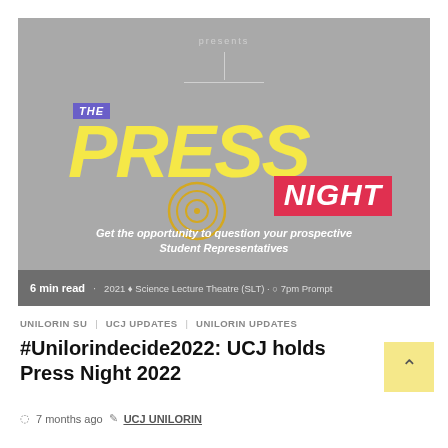[Figure (photo): Event promotional image for 'The Press Night' featuring bold yellow PRESS text, purple THE badge, red NIGHT badge, a target circle graphic, event details and '6 min read' overlay at bottom.]
UNILORIN SU   UCJ UPDATES   UNILORIN UPDATES
#Unilorindecide2022: UCJ holds Press Night 2022
7 months ago   UCJ UNILORIN